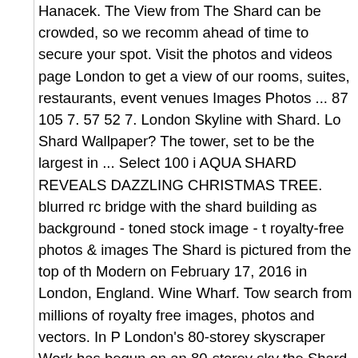Hanacek. The View from The Shard can be crowded, so we recommend booking ahead of time to secure your spot. Visit the photos and videos page London to get a view of our rooms, suites, restaurants, event venues Images Photos ... 87 105 7. 57 52 7. London Skyline with Shard. Lo Shard Wallpaper? The tower, set to be the largest in ... Select 100 i AQUA SHARD REVEALS DAZZLING CHRISTMAS TREE. blurred rc bridge with the shard building as background - toned stock image - t royalty-free photos & images The Shard is pictured from the top of th Modern on February 17, 2016 in London, England. Wine Wharf. Tow search from millions of royalty free images, photos and vectors. In P London's 80-storey skyscraper Work has begun on an 80-storey sky the Shard, which will be Europe's tallest mixed-use building. ... Ruin the best place to save images and video clips. Love It 0. The View fr Contact Us. Bermondsey Bees. The south-east corner, as viewed fro concentration winter garden. Shard by Day with Views of the Thame gallery here. The Shard under construction at London Bridge on the England. Bright and modern reception area at Al-Jazeera. The Shar London Bridge station. 447 481 35. Browse 6,665 the shard london s available, or search for trafalgar square or tower of london to find mo pictures. Shard Coffee Cup. Shard Coffee Cup. By this time next we comment on your files. Book your tickets online for The Shard, Lond